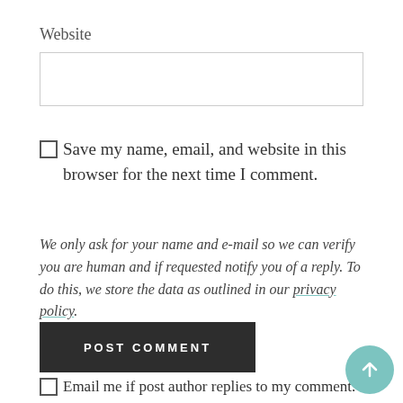Website
Save my name, email, and website in this browser for the next time I comment.
We only ask for your name and e-mail so we can verify you are human and if requested notify you of a reply. To do this, we store the data as outlined in our privacy policy.
POST COMMENT
Email me if post author replies to my comment.